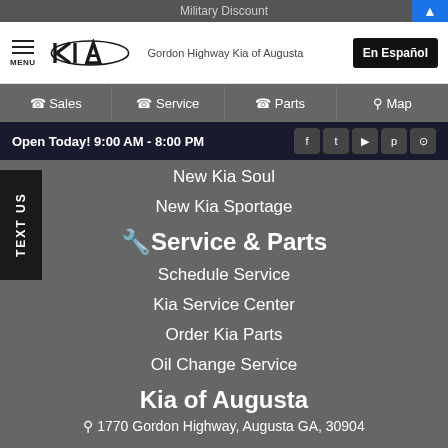Military Discount
[Figure (logo): Kia logo with dealer name: Gordon Highway Kia of Augusta]
En Español
Sales
Service
Parts
Map
Open Today! 9:00 AM - 8:00 PM
New Kia Soul
New Kia Sportage
Service & Parts
Schedule Service
Kia Service Center
Order Kia Parts
Oil Change Service
Kia of Augusta
1770 Gordon Highway, Augusta GA, 30904